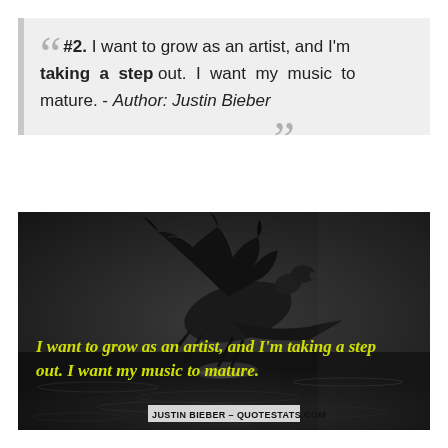#2. I want to grow as an artist, and I'm taking a step out. I want my music to mature. - Author: Justin Bieber
[Figure (photo): Dark moody photo of a bird (pelican or similar large water bird) taking flight over water, with yellow-green quote text overlay: 'I want to grow as an artist, and I'm taking a step out. I want my music to mature.' and attribution 'JUSTIN BIEBER – QUOTESTATS.COM']